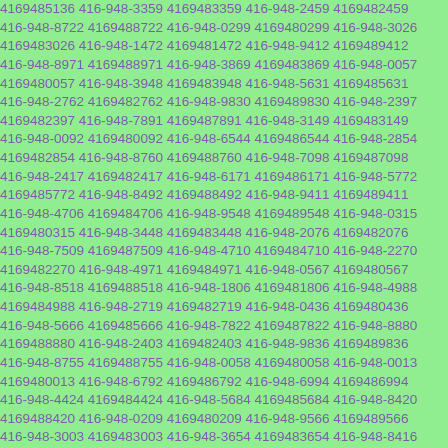4169485136 416-948-3359 4169483359 416-948-2459 4169482459 416-948-8722 4169488722 416-948-0299 4169480299 416-948-3026 4169483026 416-948-1472 4169481472 416-948-9412 4169489412 416-948-8971 4169488971 416-948-3869 4169483869 416-948-0057 4169480057 416-948-3948 4169483948 416-948-5631 4169485631 416-948-2762 4169482762 416-948-9830 4169489830 416-948-2397 4169482397 416-948-7891 4169487891 416-948-3149 4169483149 416-948-0092 4169480092 416-948-6544 4169486544 416-948-2854 4169482854 416-948-8760 4169488760 416-948-7098 4169487098 416-948-2417 4169482417 416-948-6171 4169486171 416-948-5772 4169485772 416-948-8492 4169488492 416-948-9411 4169489411 416-948-4706 4169484706 416-948-9548 4169489548 416-948-0315 4169480315 416-948-3448 4169483448 416-948-2076 4169482076 416-948-7509 4169487509 416-948-4710 4169484710 416-948-2270 4169482270 416-948-4971 4169484971 416-948-0567 4169480567 416-948-8518 4169488518 416-948-1806 4169481806 416-948-4988 4169484988 416-948-2719 4169482719 416-948-0436 4169480436 416-948-5666 4169485666 416-948-7822 4169487822 416-948-8880 4169488880 416-948-2403 4169482403 416-948-9836 4169489836 416-948-8755 4169488755 416-948-0058 4169480058 416-948-0013 4169480013 416-948-6792 4169486792 416-948-6994 4169486994 416-948-4424 4169484424 416-948-5684 4169485684 416-948-8420 4169488420 416-948-0209 4169480209 416-948-9566 4169489566 416-948-3003 4169483003 416-948-3654 4169483654 416-948-8416 4169488416 416-948-6343 4169486343 416-948-4146 4169484146 416-948-4565 4169484565 416-948-3350 4169483350 416-948-1144